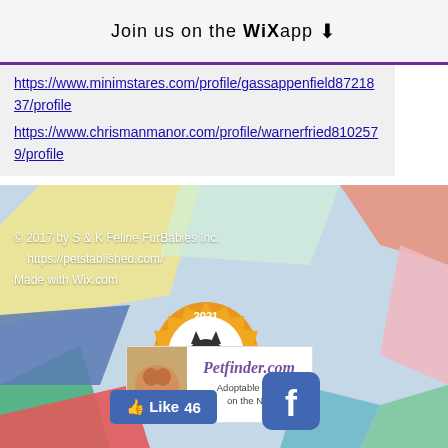Join us on the WiX app ↓
https://www.minimstares.com/profile/gassappenfield8721837/profile https://www.chrismanmanor.com/profile/warnerfried8102579/profile
© 2017 by S & K Feline FurBabies Inc.
https://petstablished.com/
Made with Wix.com
[Figure (logo): 2021 Adopt-a-Pet.com Approved Rescue badge with cat silhouette]
[Figure (logo): Petfinder.com - Adoptable Pets on the Net banner]
👍 Like 46
[Figure (logo): Facebook logo icon button]